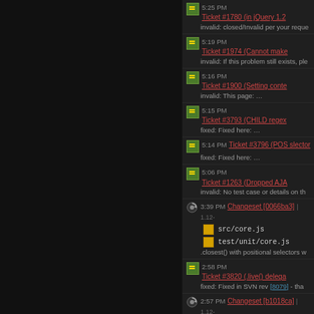5:25 PM Ticket #1780 (in jQuery 1.2...
invalid: closed/Invalid per your reque...
5:19 PM Ticket #1974 (Cannot make...
invalid: If this problem still exists, ple...
5:16 PM Ticket #1900 (Setting conte...
invalid: This page: ...
5:15 PM Ticket #3793 (CHILD regex...
fixed: Fixed here: ...
5:14 PM Ticket #3796 (POS slector ...
fixed: Fixed here: ...
5:06 PM Ticket #1263 (Dropped AJA...
invalid: No test case or details on th...
3:39 PM Changeset [0066ba3] | 1.12-...
src/core.js
test/unit/core.js
.closest() with positional selectors w...
2:58 PM Ticket #3820 (.live() delega...
fixed: Fixed in SVN rev [8079] - tha...
2:57 PM Changeset [b1018ca] | 1.12-...
src/event.js
test/unit/event.js
Landed a fix for when a DOM eleme...
7:49 AM Ticket #3822 ($('div > div:e...
the selectors of this form work fin...